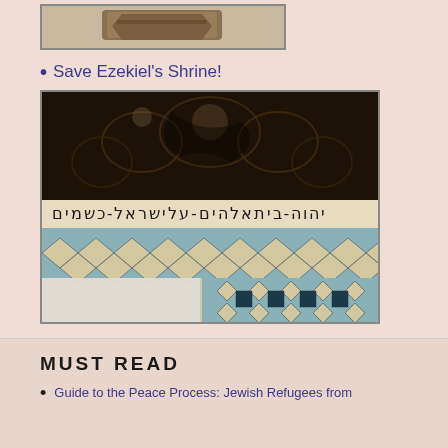[Figure (photo): Partial view of an artifact or archaeological object, appears to be a stone or clay tablet fragment, shown in a bordered photo box at the top of the page]
Save Ezekiel's Shrine!
[Figure (photo): Interior photo of Ezekiel's Shrine showing ornate mosaic tilework with blue and cream geometric diamond patterns, a band of Hebrew inscription text, and an arched decorated ceiling with intricate dark floral/arabesque patterns]
MUST READ
Guide to the Peace Process: Jewish Refugees from